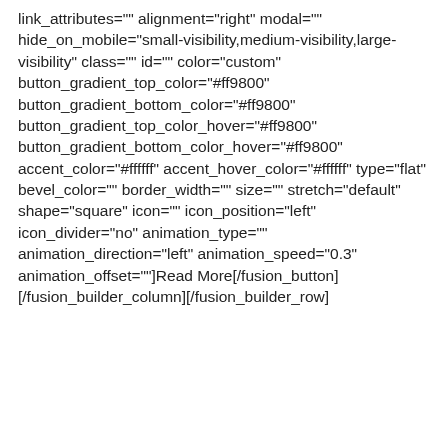link_attributes="" alignment="right" modal="" hide_on_mobile="small-visibility,medium-visibility,large-visibility" class="" id="" color="custom" button_gradient_top_color="#ff9800" button_gradient_bottom_color="#ff9800" button_gradient_top_color_hover="#ff9800" button_gradient_bottom_color_hover="#ff9800" accent_color="#ffffff" accent_hover_color="#ffffff" type="flat" bevel_color="" border_width="" size="" stretch="default" shape="square" icon="" icon_position="left" icon_divider="no" animation_type="" animation_direction="left" animation_speed="0.3" animation_offset=""]Read More[/fusion_button][/fusion_builder_column][/fusion_builder_row]